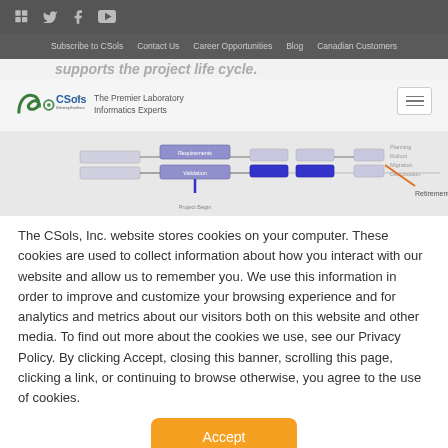in  twitter  facebook  youtube
Subscribe to CSols  Contact Us  Career Opportunities  Blog  Canadian Customers
supports the project life cycle.
[Figure (screenshot): CSols Inc. website header with logo 'CSols - The Premier Laboratory Informatics Experts' and a hamburger menu button]
[Figure (flowchart): Project lifecycle flowchart showing phases: Project Begin, Requirements, Validation, and Retirement stages with connected boxes and arrows]
The CSols, Inc. website stores cookies on your computer. These cookies are used to collect information about how you interact with our website and allow us to remember you. We use this information in order to improve and customize your browsing experience and for analytics and metrics about our visitors both on this website and other media. To find out more about the cookies we use, see our Privacy Policy. By clicking Accept, closing this banner, scrolling this page, clicking a link, or continuing to browse otherwise, you agree to the use of cookies.
Accept